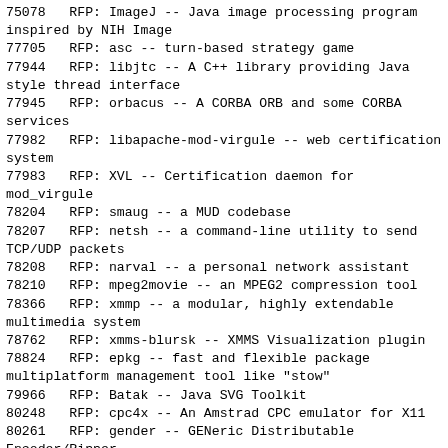75078   RFP: ImageJ -- Java image processing program inspired by NIH Image
77705   RFP: asc -- turn-based strategy game
77944   RFP: libjtc -- A C++ library providing Java style thread interface
77945   RFP: orbacus -- A CORBA ORB and some CORBA services
77982   RFP: libapache-mod-virgule -- web certification system
77983   RFP: XVL -- Certification daemon for mod_virgule
78204   RFP: smaug -- a MUD codebase
78207   RFP: netsh -- a command-line utility to send TCP/UDP packets
78208   RFP: narval -- a personal network assistant
78210   RFP: mpeg2movie -- an MPEG2 compression tool
78366   RFP: xmmp -- a modular, highly extendable multimedia system
78762   RFP: xmms-blursk -- XMMS Visualization plugin
78824   RFP: epkg -- fast and flexible package multiplatform management tool like "stow"
79966   RFP: Batak -- Java SVG Toolkit
80248   RFP: cpc4x -- An Amstrad CPC emulator for X11
80261   RFP: gender -- GENeric Distributable Encoder/Ripper
81170   RFP: bigforth -- a native code ANS Forth system)
81980   RFP: mfmail -- command-line multipart message sender
82091   RFP: ithought -- an online diary composer